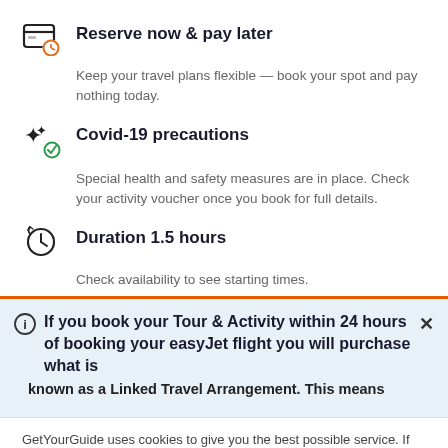Reserve now & pay later
Keep your travel plans flexible — book your spot and pay nothing today.
Covid-19 precautions
Special health and safety measures are in place. Check your activity voucher once you book for full details.
Duration 1.5 hours
Check availability to see starting times.
If you book your Tour & Activity within 24 hours of booking your easyJet flight you will purchase what is known as a Linked Travel Arrangement. This means
GetYourGuide uses cookies to give you the best possible service. If you continue browsing, you agree to the use of cookies. More details can be found in our privacy policy.